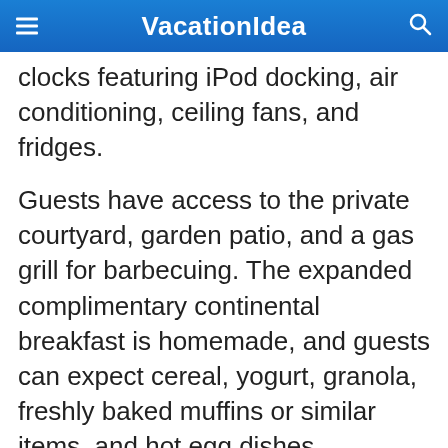VacationIdea
clocks featuring iPod docking, air conditioning, ceiling fans, and fridges.
Guests have access to the private courtyard, garden patio, and a gas grill for barbecuing. The expanded complimentary continental breakfast is homemade, and guests can expect cereal, yogurt, granola, freshly baked muffins or similar items, and hot egg dishes.
158 Bradford Street, Provincetown, MA, Phone: 508-487-9665